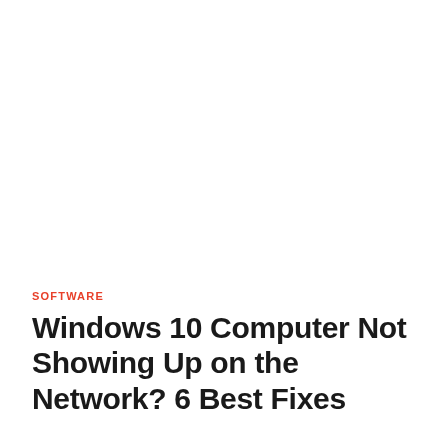SOFTWARE
Windows 10 Computer Not Showing Up on the Network? 6 Best Fixes